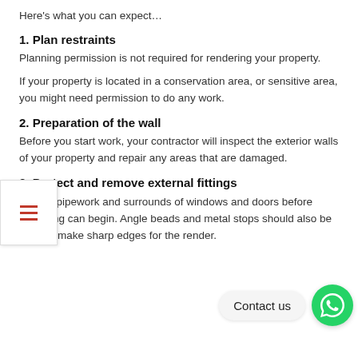Here's what you can expect…
1. Plan restraints
Planning permission is not required for rendering your property.
If your property is located in a conservation area, or sensitive area, you might need permission to do any work.
2. Preparation of the wall
Before you start work, your contractor will inspect the exterior walls of your property and repair any areas that are damaged.
3. Protect and remove external fittings
Protect pipework and surrounds of windows and doors before rendering can begin. Angle beads and metal stops should also be used to make sharp edges for the render.